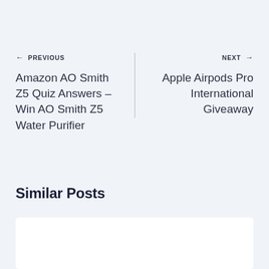← PREVIOUS
Amazon AO Smith Z5 Quiz Answers – Win AO Smith Z5 Water Purifier
NEXT →
Apple Airpods Pro International Giveaway
Similar Posts